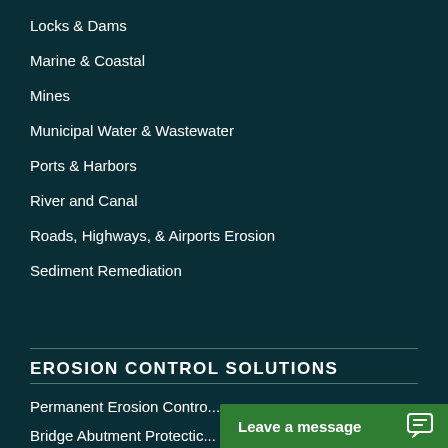Locks & Dams
Marine & Coastal
Mines
Municipal Water & Wastewater
Ports & Harbors
River and Canal
Roads, Highways, & Airports Erosion
Sediment Remediation
EROSION CONTROL SOLUTIONS
Permanent Erosion Control
Bridge Abutment Protection